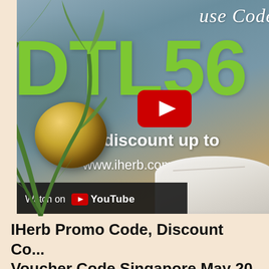[Figure (screenshot): YouTube video thumbnail for iHerb promo code. Features a blue-grey stone background with palm leaves on the left, a gold sphere and white marble pedestal at the bottom. Large green bold text reads 'DTL56' (partially shown, code continues off-frame). Cursive white text at top reads 'use Code'. Bold white text says 'Get discount up to' and 'www.iherb.com'. A red YouTube play button is overlaid in the center. A 'Watch on YouTube' bar appears at the bottom left of the thumbnail.]
IHerb Promo Code, Discount Code, Voucher Code Singapore May 20...